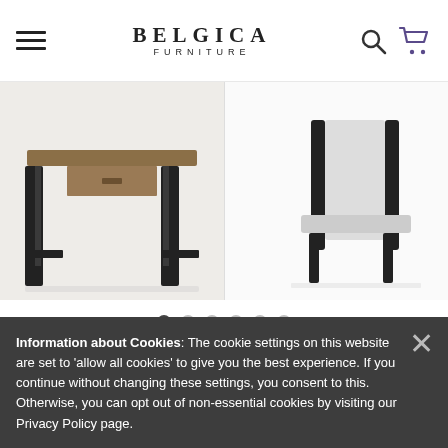BELGICA FURNITURE
[Figure (photo): Two product images of a furniture piece (desk/table with black metal frame and wood top) shown side by side on a light background]
[Figure (other): Carousel navigation dots — 6 dots with first dot active/filled dark]
Information about Cookies: The cookie settings on this website are set to 'allow all cookies' to give you the best experience. If you continue without changing these settings, you consent to this. Otherwise, you can opt out of non-essential cookies by visiting our Privacy Policy page.